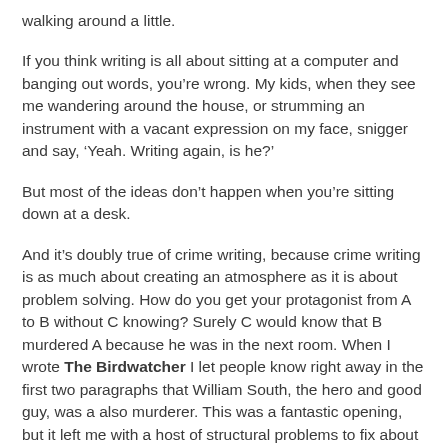walking around a little.
If you think writing is all about sitting at a computer and banging out words, you’re wrong. My kids, when they see me wandering around the house, or strumming an instrument with a vacant expression on my face, snigger and say, ‘Yeah. Writing again, is he?’
But most of the ideas don’t happen when you’re sitting down at a desk.
And it’s doubly true of crime writing, because crime writing is as much about creating an atmosphere as it is about problem solving. How do you get your protagonist from A to B without C knowing? Surely C would know that B murdered A because he was in the next room. When I wrote The Birdwatcher I let people know right away in the first two paragraphs that William South, the hero and good guy, was a also murderer. This was a fantastic opening, but it left me with a host of structural problems to fix about how long I could delay the reader knowing who he had killed. As a result, I had two plots, one in the 1970s and one in the